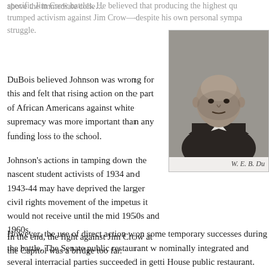above the immediate concerns of specific Jim Crow battles. He believed that producing the highest quality graduates trumped activism against Jim Crow—despite his own personal sympathies with the struggle.
DuBois believed Johnson was wrong for this and felt that rising action on the part of African Americans against white supremacy was more important than any funding loss to the school.
Johnson's actions in tamping down the nascent student activists of 1934 and 1943-44 may have deprived the larger civil rights movement of the impetus it would not receive until the mid 1950s and 1960s.
In the end, the fight against Jim Crow at the Capitol was a bridge too far.
[Figure (photo): Black and white portrait photograph of W. E. B. Du Bois, an older bald man in a suit]
W. E. B. Du
However, the use of direct action won some temporary successes during the battle. The Senate public restaurant was nominally integrated and several interracial parties succeeded in getting into the House public restaurant.